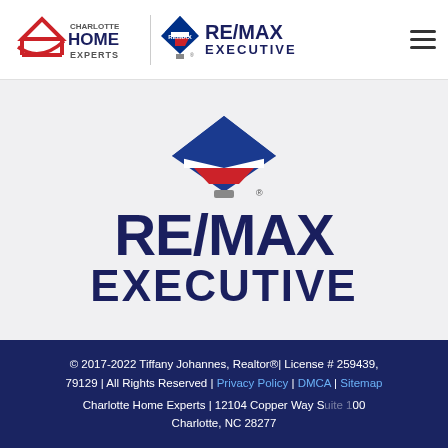[Figure (logo): Charlotte Home Experts and RE/MAX Executive combined header logo with hamburger menu]
[Figure (logo): RE/MAX Executive large logo with hot air balloon icon and bold text RE/MAX EXECUTIVE on light gray background]
© 2017-2022 Tiffany Johannes, Realtor®| License # 259439, 79129 | All Rights Reserved | Privacy Policy | DMCA | Sitemap
Charlotte Home Experts | 12104 Copper Way Suite 100 Charlotte, NC 28277